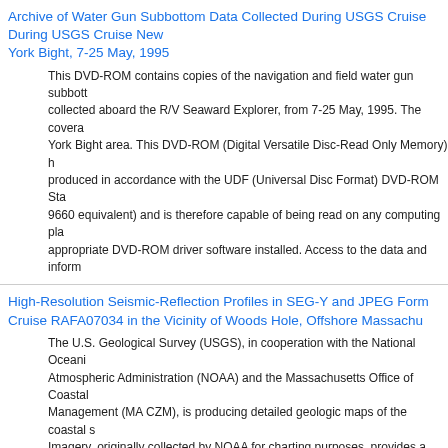Archive of Water Gun Subbottom Data Collected During USGS Cruise New York Bight, 7-25 May, 1995
This DVD-ROM contains copies of the navigation and field water gun subbottom data collected aboard the R/V Seaward Explorer, from 7-25 May, 1995. The coverage is the New York Bight area. This DVD-ROM (Digital Versatile Disc-Read Only Memory) has been produced in accordance with the UDF (Universal Disc Format) DVD-ROM Standard (ISO 9660 equivalent) and is therefore capable of being read on any computing platform with appropriate DVD-ROM driver software installed. Access to the data and infor...
High-Resolution Seismic-Reflection Profiles in SEG-Y and JPEG Form... Cruise RAFA07034 in the Vicinity of Woods Hole, Offshore Massachu...
The U.S. Geological Survey (USGS), in cooperation with the National Oceanic and Atmospheric Administration (NOAA) and the Massachusetts Office of Coastal Management (MA CZM), is producing detailed geologic maps of the coastal s... Imagery, originally collected by NOAA for charting purposes, provides a fundamental framework for research and management activities along this part of the Massachusetts coastline, shows the composition and terrain of the seabed, and provides information on sediment ...
High-Resolution Seismic-Reflection Boomer Profiles in SEG-Y and JP... From Cruise RAFA08034 off Edgartown, Massachusetts (08034_BOOMERPROFILES)
The U.S. Geological Survey (USGS), in cooperation with the National Oceanic and Atmospheric Administration (NOAA) and the Massachusetts Office of Coastal Management (MA CZM), is producing detailed geologic maps of the coastal...